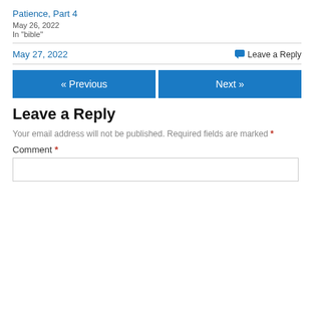Patience, Part 4
May 26, 2022
In "bible"
May 27, 2022
Leave a Reply
« Previous
Next »
Leave a Reply
Your email address will not be published. Required fields are marked *
Comment *